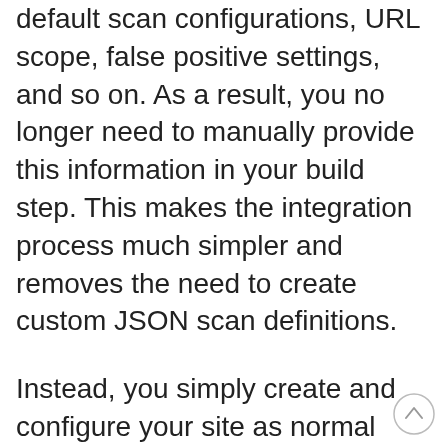default scan configurations, URL scope, false positive settings, and so on. As a result, you no longer need to manually provide this information in your build step. This makes the integration process much simpler and removes the need to create custom JSON scan definitions.
Instead, you simply create and configure your site as normal using Burp Suite Enterprise Edition's intuitive web UI. You can then test your site and scan configuration by running a few scans manually, tweaking the behavior if necessary.